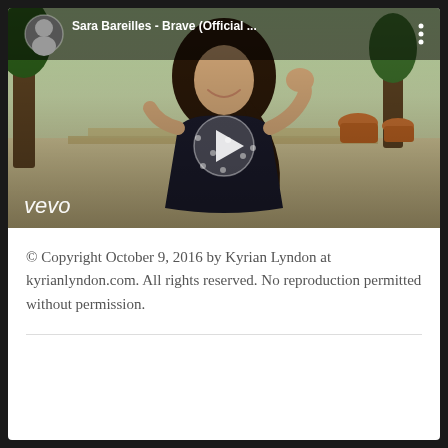[Figure (screenshot): Embedded YouTube/Vevo video player showing Sara Bareilles - Brave (Official ...). A woman in a dark polka-dot dress is visible with a play button overlay. The Vevo logo appears at the bottom left. Top bar shows a circular avatar, the video title, and a three-dot menu.]
© Copyright October 9, 2016 by Kyrian Lyndon at kyrianlyndon.com. All rights reserved. No reproduction permitted without permission.